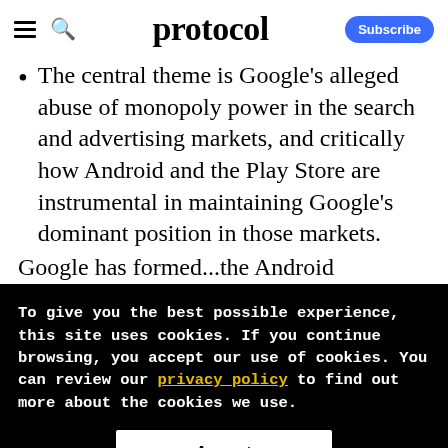protocol
The central theme is Google's alleged abuse of monopoly power in the search and advertising markets, and critically how Android and the Play Store are instrumental in maintaining Google's dominant position in those markets.
Google has formed...the Android
To give you the best possible experience, this site uses cookies. If you continue browsing, you accept our use of cookies. You can review our privacy policy to find out more about the cookies we use.
Accept